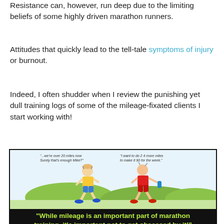Resistance can, however, run deep due to the limiting beliefs of some highly driven marathon runners.
Attitudes that quickly lead to the tell-tale symptoms of injury or burnout.
Indeed, I often shudder when I review the punishing yet dull training logs of some of the mileage-fixated clients I start working with!
[Figure (illustration): Cartoon of two runners. One runner (yellow shirt, blue shorts) says '...we're over 20 miles now. Surely that's enough Mike?' The other runner (red vest, red shorts) replies 'I want to do 2 4 more miles to make it 90 for the week.' Both are running outdoors with hills in background.]
"While mileage is an important part of marathon training, it's important not to get obsessed by it!"